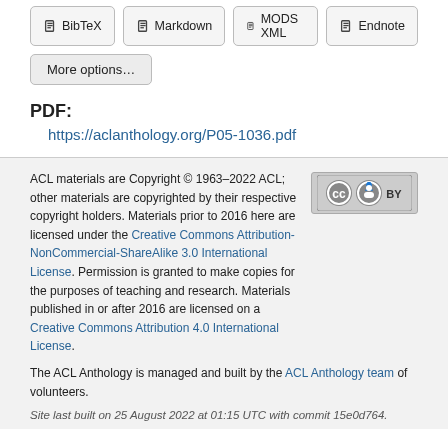BibTeX
Markdown
MODS XML
Endnote
More options…
PDF:
https://aclanthology.org/P05-1036.pdf
ACL materials are Copyright © 1963–2022 ACL; other materials are copyrighted by their respective copyright holders. Materials prior to 2016 here are licensed under the Creative Commons Attribution-NonCommercial-ShareAlike 3.0 International License. Permission is granted to make copies for the purposes of teaching and research. Materials published in or after 2016 are licensed on a Creative Commons Attribution 4.0 International License.
The ACL Anthology is managed and built by the ACL Anthology team of volunteers.
Site last built on 25 August 2022 at 01:15 UTC with commit 15e0d764.